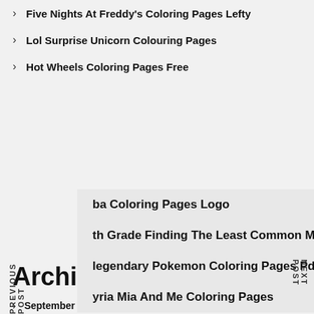Five Nights At Freddy's Coloring Pages Lefty
Lol Surprise Unicorn Colouring Pages
Hot Wheels Coloring Pages Free
ba Coloring Pages Logo
th Grade Finding The Least Common Multiple Worksheet
legendary Pokemon Coloring Pages Pdf
yria Mia And Me Coloring Pages
PREVIOUS POST
NEXT POST
Archives
September 2022